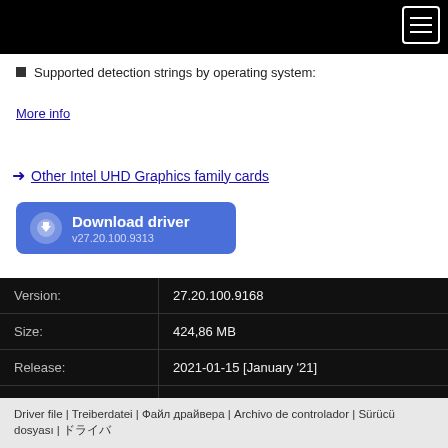Supported detection strings by operating system:
More info
Other Intel UHD Graphics family cards
[Figure (other): Download driver button with version v27.20.100.9313]
| Version: | 27.20.100.9168 |
| Size: | 424,86 MB |
| Release: | 2021-01-15 [January '21] |
| Downloaded: | 2727× |
Driver file | Treiberdatei | Файл драйвера | Archivo de controlador | Sürücü dosyası | ドライバ